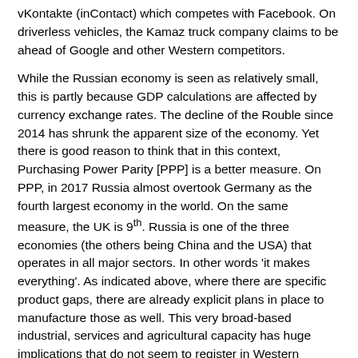vKontakte (inContact) which competes with Facebook. On driverless vehicles, the Kamaz truck company claims to be ahead of Google and other Western competitors.
While the Russian economy is seen as relatively small, this is partly because GDP calculations are affected by currency exchange rates. The decline of the Rouble since 2014 has shrunk the apparent size of the economy. Yet there is good reason to think that in this context, Purchasing Power Parity [PPP] is a better measure. On PPP, in 2017 Russia almost overtook Germany as the fourth largest economy in the world. On the same measure, the UK is 9th. Russia is one of the three economies (the others being China and the USA) that operates in all major sectors. In other words 'it makes everything'. As indicated above, where there are specific product gaps, there are already explicit plans in place to manufacture those as well. This very broad-based industrial, services and agricultural capacity has huge implications that do not seem to register in Western analyses, including the increasing ability to withstand sanctions and embargoes.
The growth in the financial and services sectors (Aeroflot has a very high consumer satisfaction rating these days) means that